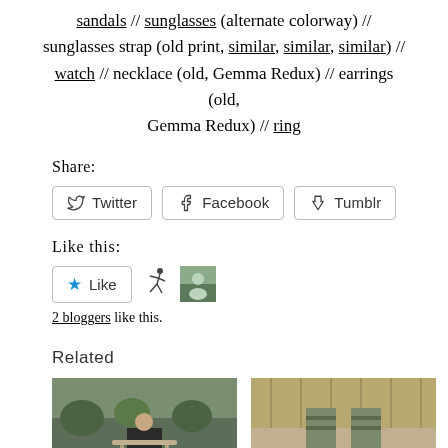sandals // sunglasses (alternate colorway) // sunglasses strap (old print, similar, similar, similar) // watch // necklace (old, Gemma Redux) // earrings (old, Gemma Redux) // ring
Share:
[Figure (other): Social share buttons: Twitter, Facebook, Tumblr]
Like this:
[Figure (other): Like button with star icon, runner avatar, and photo avatar]
2 bloggers like this.
Related
[Figure (photo): Two related post thumbnail images side by side]